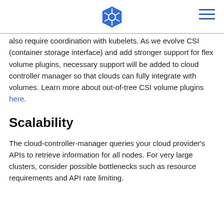[Kubernetes logo and navigation]
also require coordination with kubelets. As we evolve CSI (container storage interface) and add stronger support for flex volume plugins, necessary support will be added to cloud controller manager so that clouds can fully integrate with volumes. Learn more about out-of-tree CSI volume plugins here.
Scalability
The cloud-controller-manager queries your cloud provider's APIs to retrieve information for all nodes. For very large clusters, consider possible bottlenecks such as resource requirements and API rate limiting.